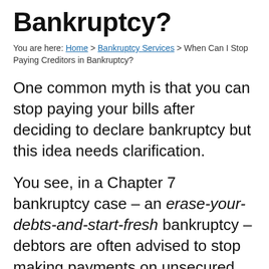Bankruptcy?
You are here: Home > Bankruptcy Services > When Can I Stop Paying Creditors in Bankruptcy?
One common myth is that you can stop paying your bills after deciding to declare bankruptcy but this idea needs clarification.
You see, in a Chapter 7 bankruptcy case – an erase-your-debts-and-start-fresh bankruptcy – debtors are often advised to stop making payments on unsecured debts, like credit cards and